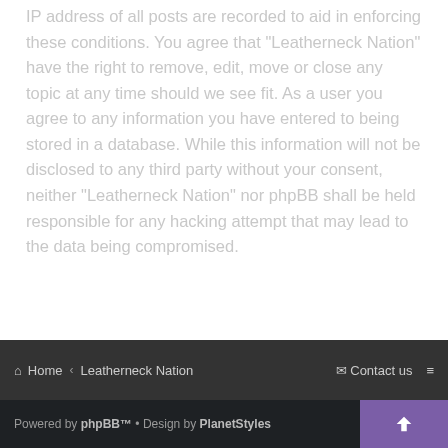IP address of all posts are recorded to aid in enforcing these conditions. You agree that "Leatherneck Nation" have the right to remove, edit, move or close any topic at any time should we see fit. As a user you agree to any information you have entered to being stored in a database. While this information will not be disclosed to any third party without your consent, neither "Leatherneck Nation" nor phpBB shall be held responsible for any hacking attempt that may lead to the data being compromised.
I agree to these terms
I do not agree to these terms
Home < Leatherneck Nation | Contact us | ≡ | Powered by phpBB™ • Design by PlanetStyles